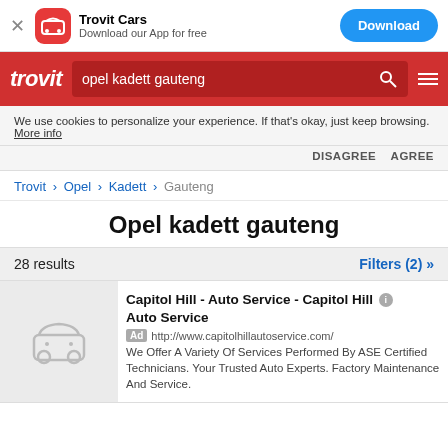[Figure (screenshot): Trovit Cars app download banner with red icon, app name, and blue Download button]
[Figure (screenshot): Trovit red navigation bar with trovit logo, search field showing 'opel kadett gauteng', search icon, and hamburger menu]
We use cookies to personalize your experience. If that's okay, just keep browsing. More info
DISAGREE   AGREE
Trovit > Opel > Kadett > Gauteng
Opel kadett gauteng
28 results
Filters (2) »
Capitol Hill - Auto Service - Capitol Hill Auto Service
Ad http://www.capitolhillautoservice.com/
We Offer A Variety Of Services Performed By ASE Certified Technicians. Your Trusted Auto Experts. Factory Maintenance And Service.